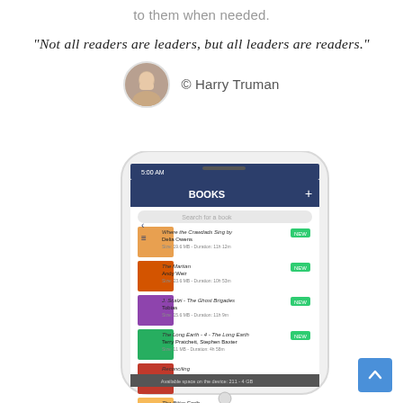to them when needed.
“Not all readers are leaders, but all leaders are readers.”
© Harry Truman
[Figure (screenshot): A smartphone mockup showing a books/audiobooks app with a list of book titles including Where the Crawdads Sing, The Martian, The Ghost Brigades, The Long Earth, Reconciling, and The Bitter Earth, with NEW badges on some items.]